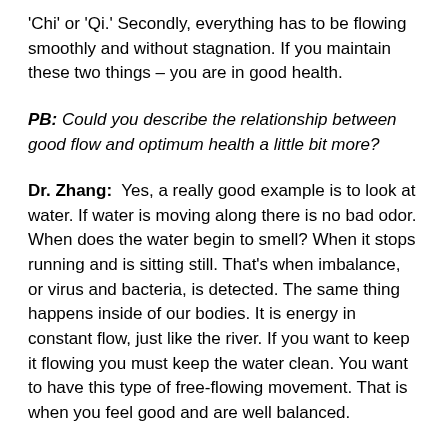'Chi' or 'Qi.' Secondly, everything has to be flowing smoothly and without stagnation. If you maintain these two things – you are in good health.
PB: Could you describe the relationship between good flow and optimum health a little bit more?
Dr. Zhang: Yes, a really good example is to look at water. If water is moving along there is no bad odor. When does the water begin to smell? When it stops running and is sitting still. That's when imbalance, or virus and bacteria, is detected. The same thing happens inside of our bodies. It is energy in constant flow, just like the river. If you want to keep it flowing you must keep the water clean. You want to have this type of free-flowing movement. That is when you feel good and are well balanced.